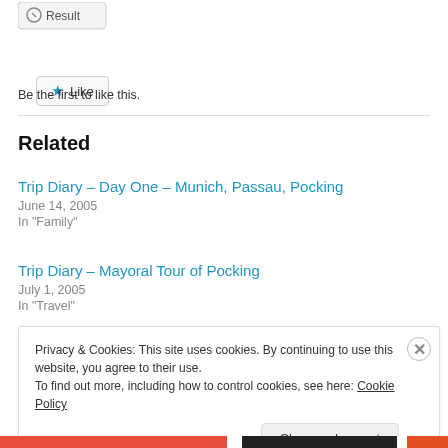[Figure (screenshot): Partial 'Result' button at top left, partially cropped]
Like
Be the first to like this.
Related
Trip Diary – Day One – Munich, Passau, Pocking
June 14, 2005
In "Family"
Trip Diary – Mayoral Tour of Pocking
July 1, 2005
In "Travel"
Privacy & Cookies: This site uses cookies. By continuing to use this website, you agree to their use.
To find out more, including how to control cookies, see here: Cookie Policy

Close and accept